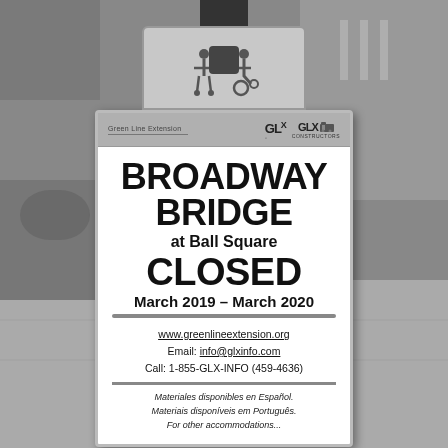[Figure (photo): Black and white photograph of a sandwich board sign on a sidewalk. The sign reads 'BROADWAY BRIDGE at Ball Square CLOSED March 2019 – March 2020' with GLX and GLX Constructors logos at the top, contact information (www.greenlineextension.org, info@glxinfo.com, 1-855-GLX-INFO (459-4636)), and multilingual text at the bottom in Spanish and Portuguese.]